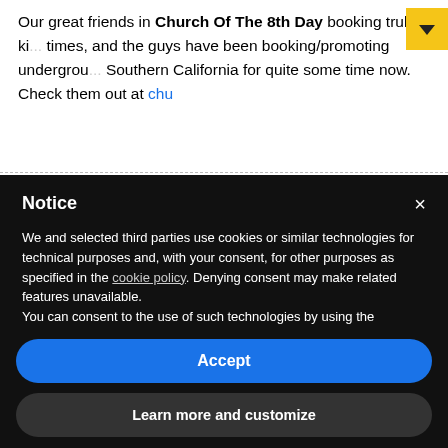Our great friends in Church Of The 8th Day booking truly ki... times, and the guys have been booking/promoting underground meta... Southern California for quite some time now. Check them out at chu...
Notice
We and selected third parties use cookies or similar technologies for technical purposes and, with your consent, for other purposes as specified in the cookie policy. Denying consent may make related features unavailable.
You can consent to the use of such technologies by using the "Accept" button, by closing this notice, by scrolling this page, by interacting with any link or button outside of this notice or by continuing to browse otherwise.
Accept
Learn more and customize